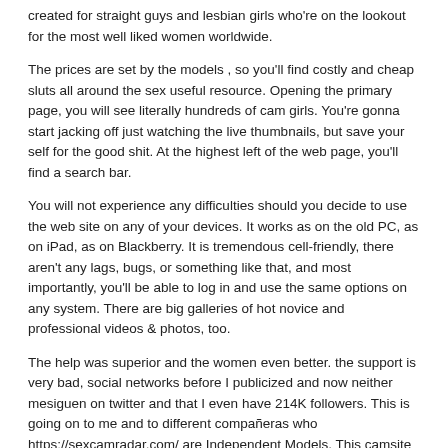created for straight guys and lesbian girls who're on the lookout for the most well liked women worldwide.
The prices are set by the models , so you'll find costly and cheap sluts all around the sex useful resource. Opening the primary page, you will see literally hundreds of cam girls. You're gonna start jacking off just watching the live thumbnails, but save your self for the good shit. At the highest left of the web page, you'll find a search bar.
You will not experience any difficulties should you decide to use the web site on any of your devices. It works as on the old PC, as on iPad, as on Blackberry. It is tremendous cell-friendly, there aren't any lags, bugs, or something like that, and most importantly, you'll be able to log in and use the same options on any system. There are big galleries of hot novice and professional videos & photos, too.
The help was superior and the women even better. the support is very bad, social networks before I publicized and now neither mesiguen on twitter and that I even have 214K followers. This is going on to me and to different compañeras who https://sexcamradar.com/ are Independent Models. This camsite has the least quantity of visitors that I've ever come across. Is it possible to eliminate my old account and begin recent? I really wish to cease splitting my cam with bonga.